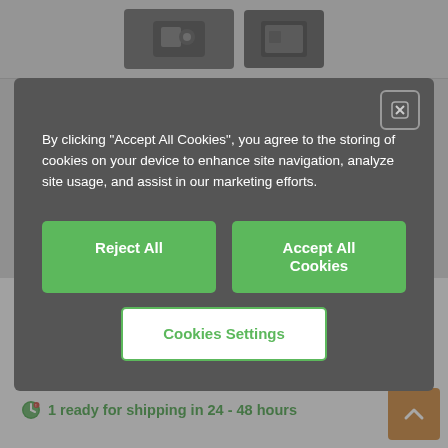[Figure (screenshot): Product images strip at top of e-commerce page, showing dark device/product thumbnails]
By clicking "Accept All Cookies", you agree to the storing of cookies on your device to enhance site navigation, analyze site usage, and assist in our marketing efforts.
Reject All
Accept All Cookies
Cookies Settings
USD 286.52/Pc.
Cost-effective price break available online
USD 214.91/Pc. 100 Pc.
1 variant(s), of which:
1 ready for shipping in 24 - 48 hours